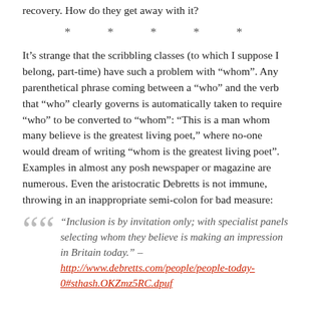recovery. How do they get away with it?
* * * * *
It’s strange that the scribbling classes (to which I suppose I belong, part-time) have such a problem with “whom”. Any parenthetical phrase coming between a “who” and the verb that “who” clearly governs is automatically taken to require “who” to be converted to “whom”: “This is a man whom many believe is the greatest living poet,” where no-one would dream of writing “whom is the greatest living poet”. Examples in almost any posh newspaper or magazine are numerous. Even the aristocratic Debretts is not immune, throwing in an inappropriate semi-colon for bad measure:
“Inclusion is by invitation only; with specialist panels selecting whom they believe is making an impression in Britain today.” – http://www.debretts.com/people/people-today-0#sthash.OKZmz5RC.dpuf